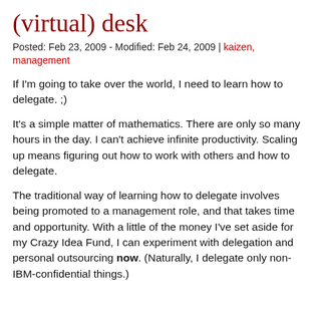(virtual) desk
Posted: Feb 23, 2009 - Modified: Feb 24, 2009 | kaizen, management
If I'm going to take over the world, I need to learn how to delegate. ;)
It's a simple matter of mathematics. There are only so many hours in the day. I can't achieve infinite productivity. Scaling up means figuring out how to work with others and how to delegate.
The traditional way of learning how to delegate involves being promoted to a management role, and that takes time and opportunity. With a little of the money I've set aside for my Crazy Idea Fund, I can experiment with delegation and personal outsourcing now. (Naturally, I delegate only non-IBM-confidential things.)